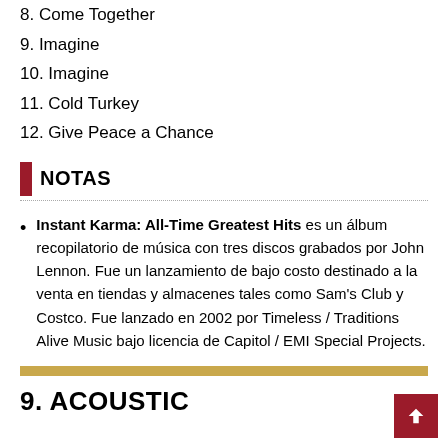8. Come Together
9. Imagine
10. Imagine
11. Cold Turkey
12. Give Peace a Chance
NOTAS
Instant Karma: All-Time Greatest Hits es un álbum recopilatorio de música con tres discos grabados por John Lennon. Fue un lanzamiento de bajo costo destinado a la venta en tiendas y almacenes tales como Sam's Club y Costco. Fue lanzado en 2002 por Timeless / Traditions Alive Music bajo licencia de Capitol / EMI Special Projects.
9. ACOUSTIC